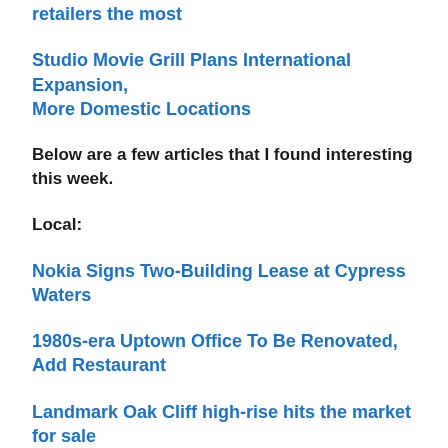retailers the most
Studio Movie Grill Plans International Expansion, More Domestic Locations
Below are a few articles that I found interesting this week.
Local:
Nokia Signs Two-Building Lease at Cypress Waters
1980s-era Uptown Office To Be Renovated, Add Restaurant
Landmark Oak Cliff high-rise hits the market for sale
White Opp...